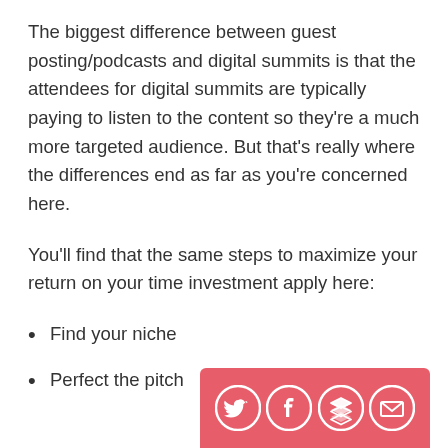The biggest difference between guest posting/podcasts and digital summits is that the attendees for digital summits are typically paying to listen to the content so they're a much more targeted audience. But that's really where the differences end as far as you're concerned here.
You'll find that the same steps to maximize your return on your time investment apply here:
Find your niche
Perfect the pitch
[Figure (infographic): Social sharing bar with Twitter, Facebook, Buffer/layers, and email icons on a coral/red background]